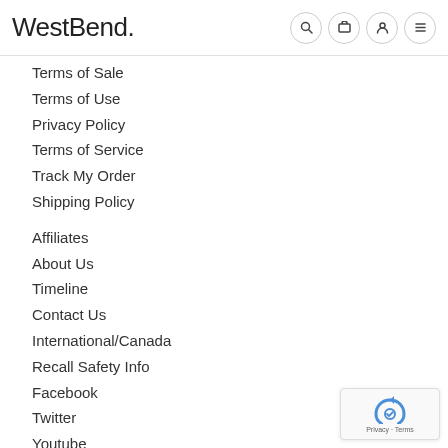WestBend.
Terms of Sale
Terms of Use
Privacy Policy
Terms of Service
Track My Order
Shipping Policy
Affiliates
About Us
Timeline
Contact Us
International/Canada
Recall Safety Info
Facebook
Twitter
Youtube
Pinterest
Instagram
CCPA
[Figure (logo): reCAPTCHA badge with Privacy and Terms links]